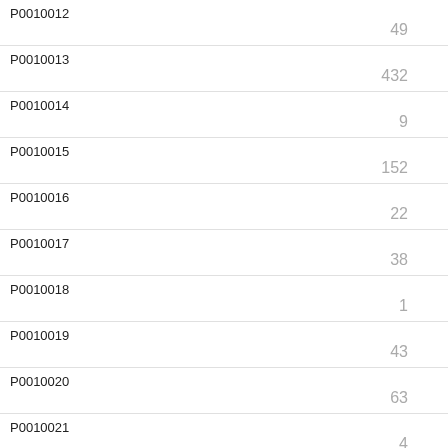| Code | Value |
| --- | --- |
| P0010012 | 49 |
| P0010013 | 432 |
| P0010014 | 9 |
| P0010015 | 152 |
| P0010016 | 22 |
| P0010017 | 38 |
| P0010018 | 1 |
| P0010019 | 43 |
| P0010020 | 63 |
| P0010021 | 4 |